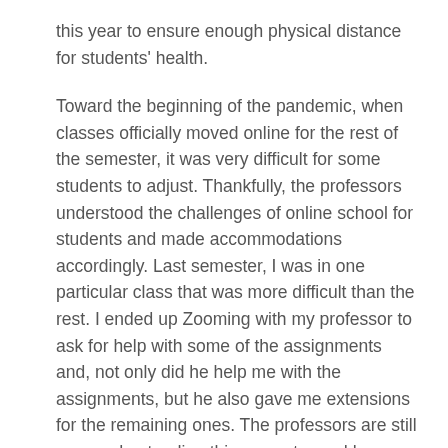this year to ensure enough physical distance for students' health.
Toward the beginning of the pandemic, when classes officially moved online for the rest of the semester, it was very difficult for some students to adjust. Thankfully, the professors understood the challenges of online school for students and made accommodations accordingly. Last semester, I was in one particular class that was more difficult than the rest. I ended up Zooming with my professor to ask for help with some of the assignments and, not only did he help me with the assignments, but he also gave me extensions for the remaining ones. The professors are still very understanding this semester and have extended office hours, whether they face-to-face or through Zoom.
Newman also has dedicated a space for students who must be quarantined, with food and drink delivered three times a day. Not only does Newman have this space for students to